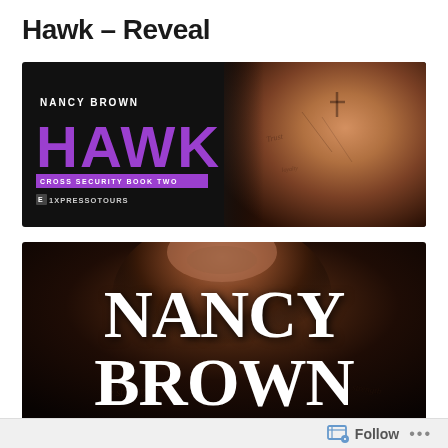Hawk – Reveal
[Figure (illustration): Book reveal banner for 'Hawk' by Nancy Brown, Cross Security Book Two, promoted by Xpresso Tours. Dark background with purple 'HAWK' title text, and a tattooed male torso on the right.]
[Figure (illustration): Book cover image showing a close-up of a tattooed male face/chest with large white serif text 'NANCY BROWN' overlaid on a dark background.]
Follow ...